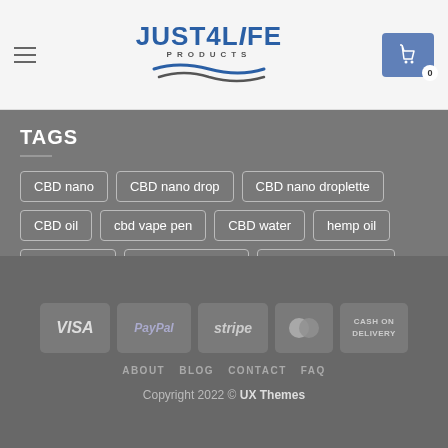[Figure (logo): Just4Life Products logo with blue wave design]
TAGS
CBD nano
CBD nano drop
CBD nano droplette
CBD oil
cbd vape pen
CBD water
hemp oil
hemp water
hemp water drop
joint recovery balm
nano cbd oil
nano hemp oil
nanolete
nuscle recovery balm
recovery balm
vape pen
[Figure (infographic): Payment method icons: VISA, PayPal, stripe, MasterCard, CASH ON DELIVERY]
ABOUT   BLOG   CONTACT   FAQ
Copyright 2022 © UX Themes